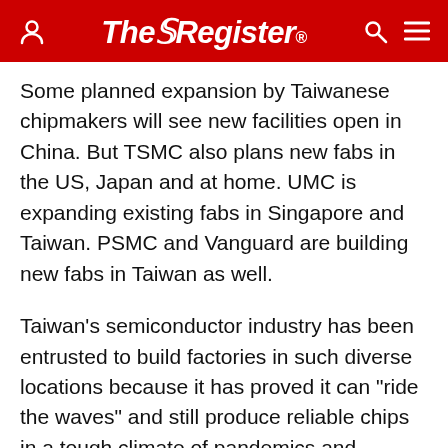The Register
Some planned expansion by Taiwanese chipmakers will see new facilities open in China. But TSMC also plans new fabs in the US, Japan and at home. UMC is expanding existing fabs in Singapore and Taiwan. PSMC and Vanguard are building new fabs in Taiwan as well.
Taiwan's semiconductor industry has been entrusted to build factories in such diverse locations because it has proved it can "ride the waves" and still produce reliable chips in a tough climate of pandemics and geopolitical turmoil.
Which is not to say Taiwan will have an easy time of it. Expansion in China has already been flagged as